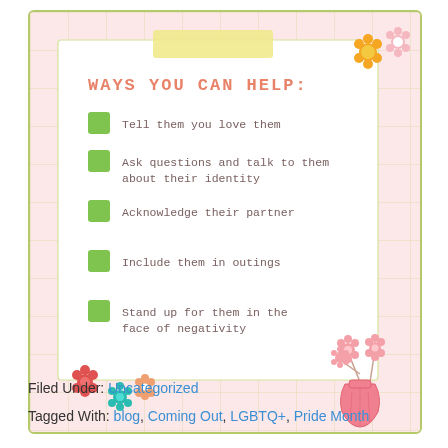[Figure (illustration): Decorative card with pink grid background, white inner card, yellow tape strip, flower decorations top-right and bottom-left, pink vase with flowers bottom-right]
WAYS YOU CAN HELP:
Tell them you love them
Ask questions and talk to them about their identity
Acknowledge their partner
Include them in outings
Stand up for them in the face of negativity
Filed Under: Uncategorized
Tagged With: blog, Coming Out, LGBTQ+, Pride Month